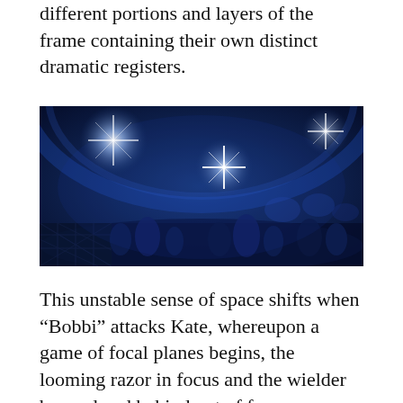different portions and layers of the frame containing their own distinct dramatic registers.
[Figure (photo): A dark blue-toned photograph of what appears to be a nightclub or theater interior with bright star-burst light flares and silhouetted figures visible in the background.]
This unstable sense of space shifts when “Bobbi” attacks Kate, whereupon a game of focal planes begins, the looming razor in focus and the wielder beyond and behind out of focus. Dressed To Kill certainly takes up the challenge of Hitchcock’s great triptych of films about voyeurism and unstable appearance